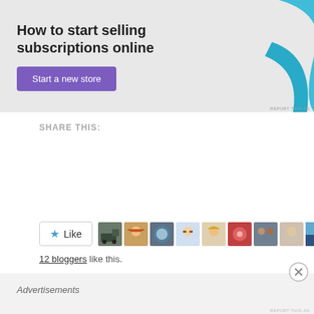[Figure (illustration): Advertisement banner with text 'How to start selling subscriptions online', a purple 'Start a new store' button, and a teal/blue decorative graphic shape on the right. 'REPORT THIS AD' text in bottom right.]
SHARE THIS:
[Figure (other): Social sharing buttons: Twitter, Facebook, Email, Print, and More]
[Figure (other): Like button with star icon and a row of 9 blogger avatar thumbnails]
12 bloggers like this.
RELATED
[Figure (other): Bottom advertisement bar with 'Advertisements' label and a close (X) button. 'REPORT THIS AD' in bottom right.]